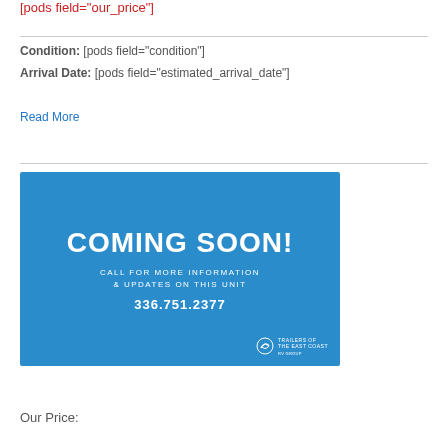[pods field="our_price"]
Condition: [pods field="condition"]
Arrival Date: [pods field="estimated_arrival_date"]
Read More
[Figure (infographic): Blue banner with bold white text reading 'COMING SOON!' followed by 'CALL FOR MORE INFORMATION & UPDATES ON THIS UNIT' and phone number '336.751.2377'. Trailers of the East Coast logo bottom right.]
Our Price: